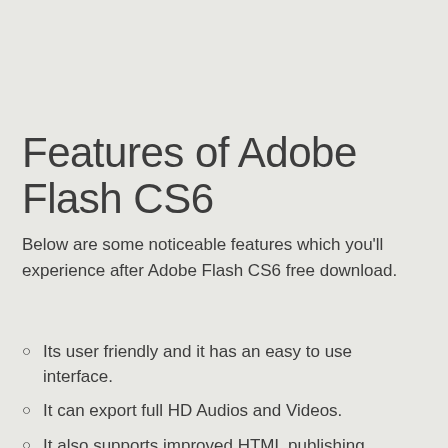Features of Adobe Flash CS6
Below are some noticeable features which you'll experience after Adobe Flash CS6 free download.
Its user friendly and it has an easy to use interface.
It can export full HD Audios and Videos.
It also supports improved HTML publishing.
You also get Timeline enhancements and